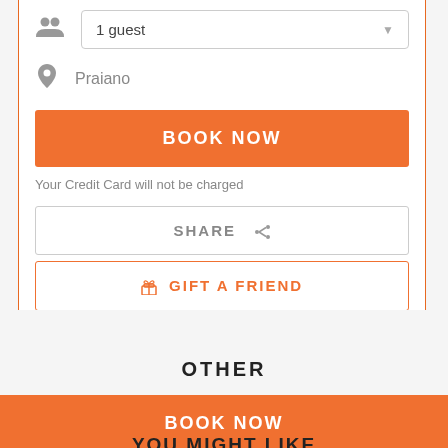1 guest
Praiano
BOOK NOW
Your Credit Card will not be charged
SHARE
GIFT A FRIEND
OTHER
BOOK NOW
YOU MIGHT LIKE